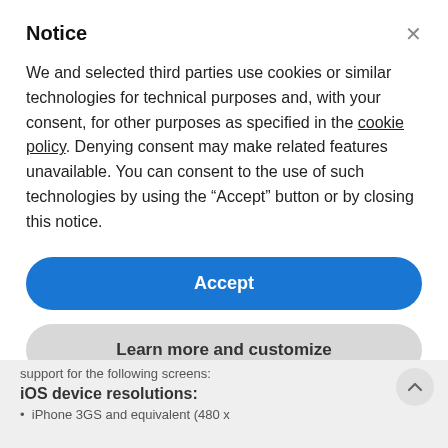Notice
We and selected third parties use cookies or similar technologies for technical purposes and, with your consent, for other purposes as specified in the cookie policy. Denying consent may make related features unavailable. You can consent to the use of such technologies by using the “Accept” button or by closing this notice.
Accept
Learn more and customize
support for the following screens:
iOS device resolutions:
iPhone 3GS and equivalent (480 x